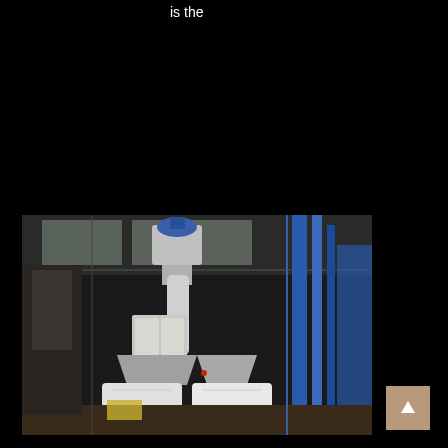is the
[Figure (photo): Industrial facility interior showing large industrial milling or processing equipment with silos, conveyors, piping, and bulk bags. Blue steel structural framework visible on the right side. The building has a corrugated metal roof with skylights.]
[Figure (other): Back-to-top navigation button (tan/brown square with upward-pointing arrow)]